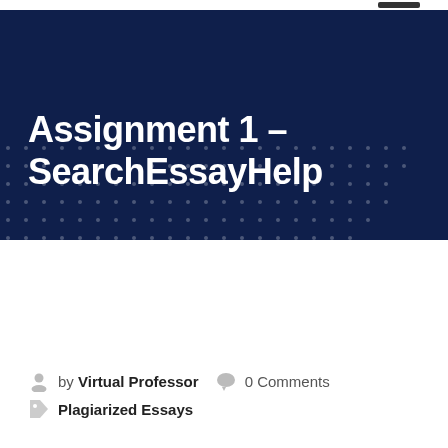Assignment 1 – SearchEssayHelp
by Virtual Professor   0 Comments
Plagiarized Essays